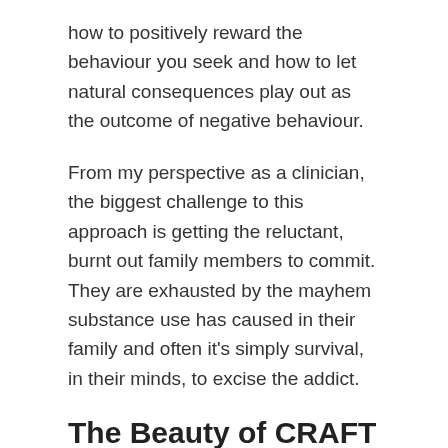how to positively reward the behaviour you seek and how to let natural consequences play out as the outcome of negative behaviour.
From my perspective as a clinician, the biggest challenge to this approach is getting the reluctant, burnt out family members to commit. They are exhausted by the mayhem substance use has caused in their family and often it's simply survival, in their minds, to excise the addict.
The Beauty of CRAFT
The beauty of the CRAFT approach is that it teaches loved ones to look after themselves first.